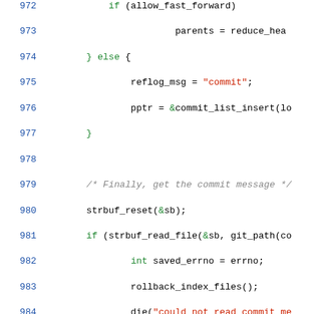[Figure (screenshot): Source code viewer showing C code lines 972–1001, with syntax highlighting: line numbers in blue, keywords in green, string literals in red, comments in gray italic, identifiers in black. The code is part of a Git commit function.]